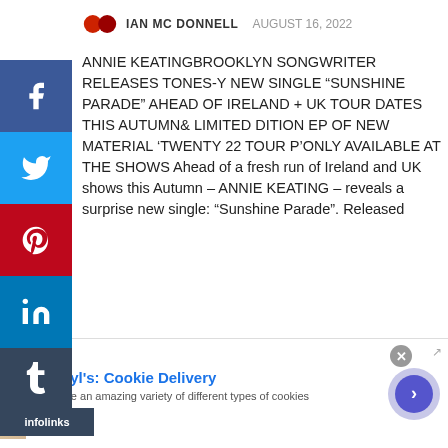IAN MC DONNELL  AUGUST 16, 2022
ANNIE KEATINGBROOKLYN SONGWRITER RELEASES TONES-Y NEW SINGLE “SUNSHINE PARADE” AHEAD OF IRELAND + UK TOUR DATES THIS AUTUMN& LIMITED DITION EP OF NEW MATERIAL ‘TWENTY 22 TOUR P’ONLY AVAILABLE AT THE SHOWS Ahead of a fresh run of Ireland and UK shows this Autumn – ANNIE KEATING – reveals a surprise new single: “Sunshine Parade”. Released
SHARE THIS:
[Figure (other): Social share buttons: Tweet, Share 38 (Facebook), SHARE (LinkedIn)]
[Figure (other): Advertisement: Cheryl's Cookie Delivery. Text: 'we have an amazing variety of different types of cookies'. URL: cheryls.com]